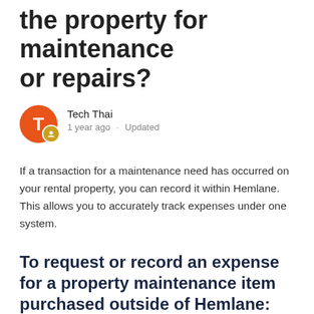the property for maintenance or repairs?
Tech Thai
1 year ago · Updated
If a transaction for a maintenance need has occurred on your rental property, you can record it within Hemlane. This allows you to accurately track expenses under one system.
To request or record an expense for a property maintenance item purchased outside of Hemlane:
Step 1: Select the Financials tab from the left side main menu